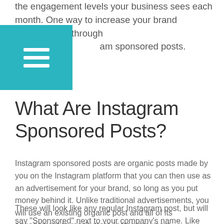the engagement levels your business sees each month. One way to increase your brand awareness is through Instagram sponsored posts.
[Figure (other): Teal/cyan colored square with a hamburger menu icon (three white horizontal lines) in the center, positioned in the top-left area of the page.]
What Are Instagram Sponsored Posts?
Instagram sponsored posts are organic posts made by you on the Instagram platform that you can then use as an advertisement for your brand, so long as you put money behind it. Unlike traditional advertisements, you will use an existing organic post and all of its engagement to reach more Instagram users.
These will look like any regular Instagram post, but will say "Sponsored" next to your company's name. Like this: